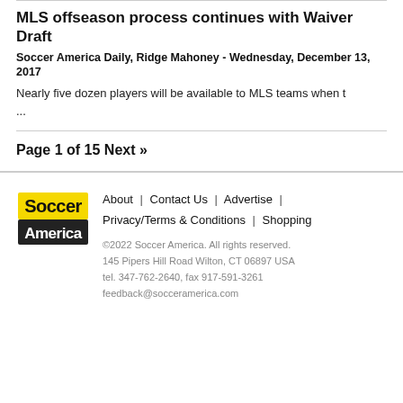MLS offseason process continues with Waiver Draft
Soccer America Daily, Ridge Mahoney - Wednesday, December 13, 2017
Nearly five dozen players will be available to MLS teams when t …
Page 1 of 15 Next »
[Figure (logo): Soccer America logo with yellow and black text on white background]
About | Contact Us | Advertise | Privacy/Terms & Conditions | Shopping
©2022 Soccer America. All rights reserved.
145 Pipers Hill Road Wilton, CT 06897 USA
tel. 347-762-2640, fax 917-591-3261
feedback@socceramerica.com